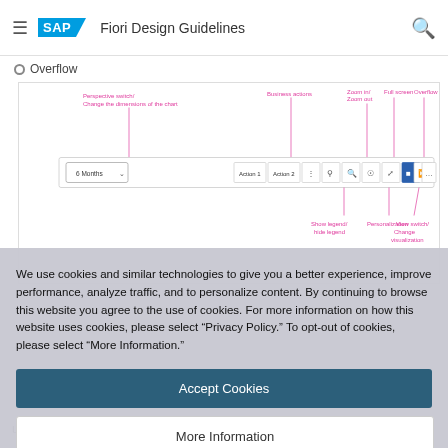SAP Fiori Design Guidelines
Overflow
[Figure (screenshot): SAP Fiori chart toolbar diagram showing labeled UI elements: Perspective switch/Change the dimensions of the chart, Business actions, Zoom in/Zoom out, Full screen, Overflow, Show legend/hide legend, Personalization, View switch/Change visualization. A toolbar with 6 Months dropdown, Action 1, Action 2 buttons and icon buttons is shown.]
We use cookies and similar technologies to give you a better experience, improve performance, analyze traffic, and to personalize content. By continuing to browse this website you agree to the use of cookies. For more information on how this website uses cookies, please select “Privacy Policy.” To opt-out of cookies, please select “More Information.”
Accept Cookies
More Information
Privacy Policy | Powered by: TrustArc
using transparent text buttons only. If multiple actions are